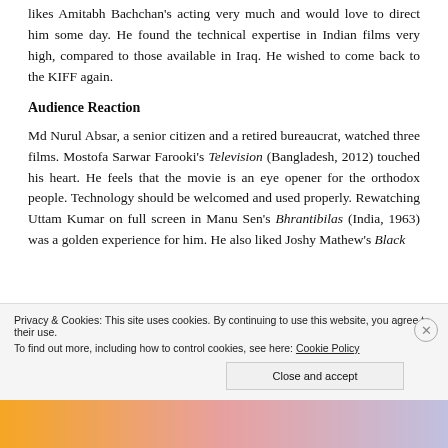likes Amitabh Bachchan's acting very much and would love to direct him some day. He found the technical expertise in Indian films very high, compared to those available in Iraq. He wished to come back to the KIFF again.
Audience Reaction
Md Nurul Absar, a senior citizen and a retired bureaucrat, watched three films. Mostofa Sarwar Farooki's Television (Bangladesh, 2012) touched his heart. He feels that the movie is an eye opener for the orthodox people. Technology should be welcomed and used properly. Rewatching Uttam Kumar on full screen in Manu Sen's Bhrantibilas (India, 1963) was a golden experience for him. He also liked Joshy Mathew's Black ...
Privacy & Cookies: This site uses cookies. By continuing to use this website, you agree to their use.
To find out more, including how to control cookies, see here: Cookie Policy
Close and accept